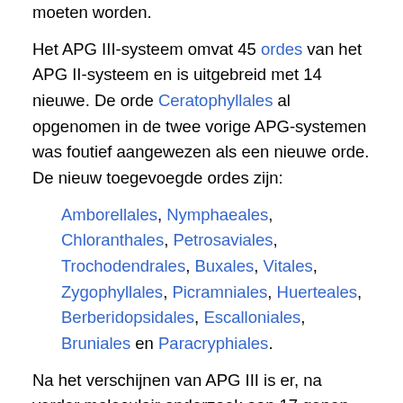moeten worden.
Het APG III-systeem omvat 45 ordes van het APG II-systeem en is uitgebreid met 14 nieuwe. De orde Ceratophyllales al opgenomen in de twee vorige APG-systemen was foutief aangewezen als een nieuwe orde. De nieuw toegevoegde ordes zijn:
Amborellales, Nymphaeales, Chloranthales, Petrosaviales, Trochodendrales, Buxales, Vitales, Zygophyllales, Picramniales, Huerteales, Berberidopsidales, Escalloniales, Bruniales en Paracryphiales.
Na het verschijnen van APG III is er, na verder moleculair onderzoek aan 17 genen, een classificatie gepubliceerd in 2011, waarbij aan de verschillende clades een botanische naam is toegekend. De meeste van deze namen waren al eerder gepubliceerd.[5]